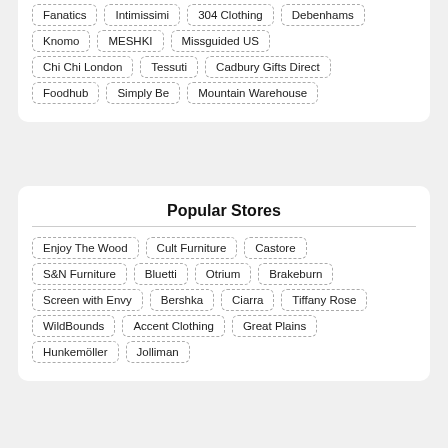Fanatics
Intimissimi
304 Clothing
Debenhams
Knomo
MESHKI
Missguided US
Chi Chi London
Tessuti
Cadbury Gifts Direct
Foodhub
Simply Be
Mountain Warehouse
Popular Stores
Enjoy The Wood
Cult Furniture
Castore
S&N Furniture
Bluetti
Otrium
Brakeburn
Screen with Envy
Bershka
Ciarra
Tiffany Rose
WildBounds
Accent Clothing
Great Plains
Hunkemöller
Jolliman